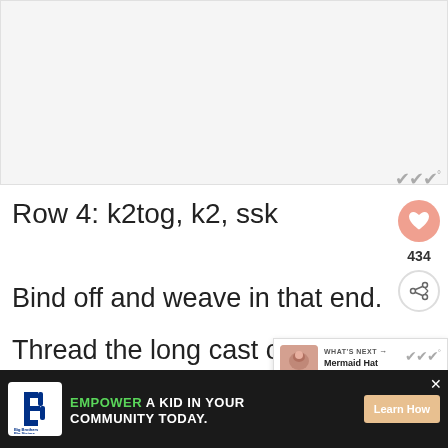[Figure (photo): Blank/white image area at top of page, likely a knitting tutorial photo that did not load]
Row 4: k2tog, k2, ssk
Bind off and weave in that end.
Thread the long cast on tail on
your yarn needle and use it to
[Figure (infographic): What's Next panel showing Mermaid Hat Knitting... with a thumbnail of a pink knitted hat]
[Figure (infographic): Advertisement banner: Big Brothers Big Sisters - EMPOWER A KID IN YOUR COMMUNITY TODAY. Learn How button]